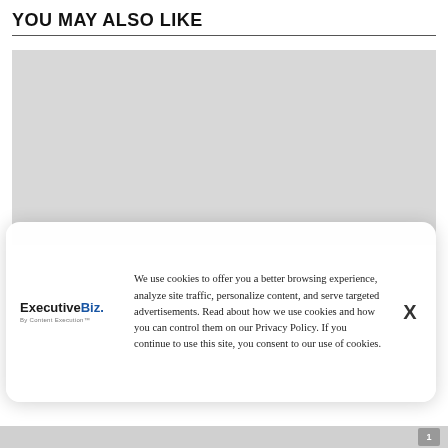YOU MAY ALSO LIKE
[Figure (other): Gray placeholder image box for article thumbnails]
We use cookies to offer you a better browsing experience, analyze site traffic, personalize content, and serve targeted advertisements. Read about how we use cookies and how you can control them on our Privacy Policy. If you continue to use this site, you consent to our use of cookies.